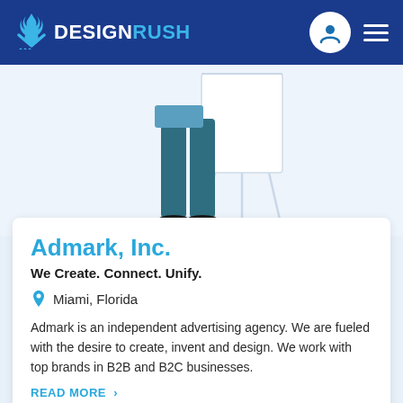DESIGNRUSH
[Figure (illustration): Illustration of a person's lower body (legs) in dark teal trousers and black shoes, standing next to a white presentation easel/flipchart board on a light blue background]
Admark, Inc.
We Create. Connect. Unify.
Miami, Florida
Admark is an independent advertising agency. We are fueled with the desire to create, invent and design. We work with top brands in B2B and B2C businesses.
READ MORE >
Under 49   $125/hr   Inquire